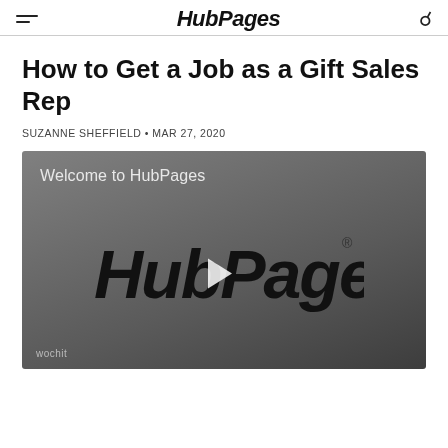HubPages
How to Get a Job as a Gift Sales Rep
SUZANNE SHEFFIELD • MAR 27, 2020
[Figure (screenshot): Video thumbnail showing HubPages logo with play button on gray background, with text 'Welcome to HubPages' and 'wochit' watermark]